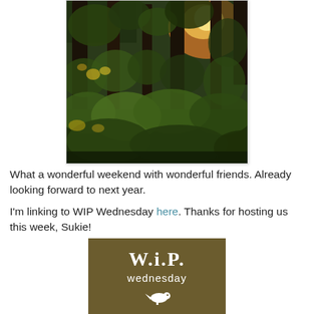[Figure (photo): Forest scene with tall dark tree trunks, dense green undergrowth and shrubs, warm golden sunlight filtering through the trees in the upper right background.]
What a wonderful weekend with wonderful friends. Already looking forward to next year.
I'm linking to WIP Wednesday here. Thanks for hosting us this week, Sukie!
[Figure (logo): W.i.P. Wednesday badge: olive/brown square with white text reading 'W.i.P.' on top line, 'wednesday' on second line, and a small white bird silhouette at the bottom.]